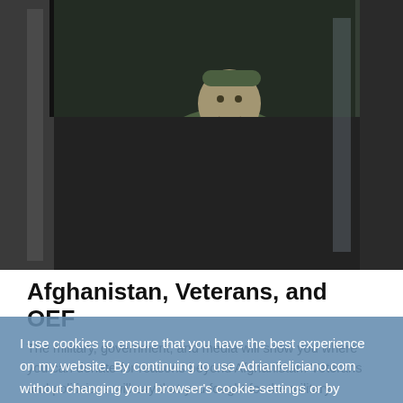[Figure (photo): A soldier in camouflage uniform sitting inside a military vehicle, smiling at the camera. Dark interior visible.]
Afghanistan, Veterans, and OEF
The military, government, and media will show you where you can donate for reasons beyond Afghanistan. Veterans and politicians will say that you fought for the military industrial complex, for American imperialism, for oil, for poppy seeds, for...
I use cookies to ensure that you have the best experience on my website. By continuing to use Adrianfeliciano.com without changing your browser's cookie-settings or by clicking "ACCEPT" you are granting consent for their use. Learn more
ACCEPT